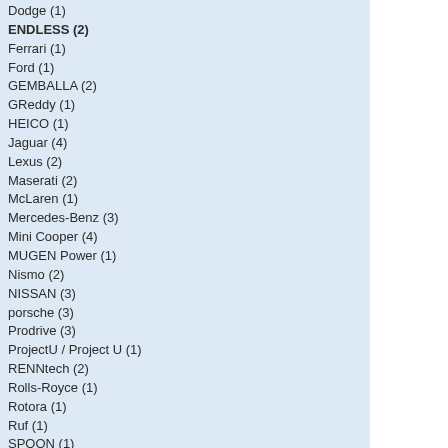Dodge (1)
ENDLESS (2)
Ferrari (1)
Ford (1)
GEMBALLA (2)
GReddy (1)
HEICO (1)
Jaguar (4)
Lexus (2)
Maserati (2)
McLaren (1)
Mercedes-Benz (3)
Mini Cooper (4)
MUGEN Power (1)
Nismo (2)
NISSAN (3)
porsche (3)
Prodrive (3)
ProjectU / Project U (1)
RENNtech (2)
Rolls-Royce (1)
Rotora (1)
Ruf (1)
SPOON (1)
Sportec (1)
STi (Subaru) (1)
STOPTECH (1)
Subaru (4)
TECHART (1)
Tesla (2)
TOM'S (2)
Toyota (2)
TRD (3)
volvo
Zero Sports (ZERO/SPORTS) (1)
Carbon Fiber Parts-> (18)
Chrome Parts-> (360)